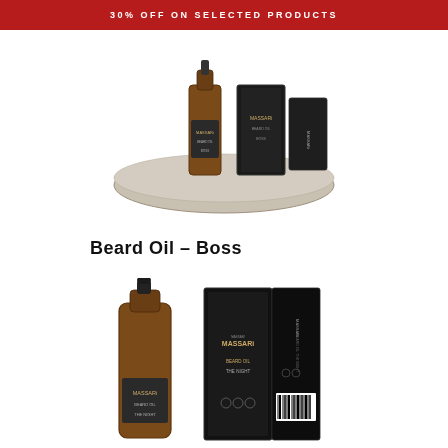30% OFF ON SELECTED PRODUCTS
[Figure (photo): Beard Oil – Boss product bottle (amber glass dropper bottle) and black box packaging sitting on a stone coaster, top view, white background]
Beard Oil – Boss
[Figure (photo): MASSARi Beard Oil – The Night product: amber glass dropper bottle next to tall black rectangular box packaging, white background]